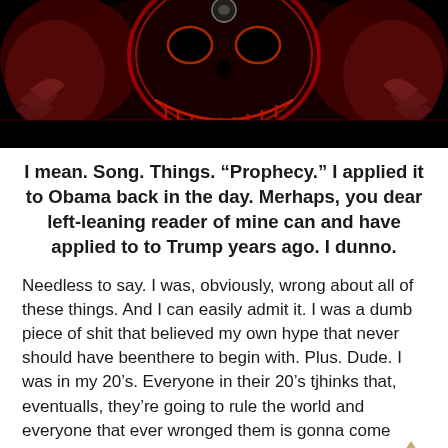[Figure (illustration): Dark digital artwork showing a skull-like face with red glowing details and hands on a black background]
I mean. Song. Things. “Prophecy.” I applied it to Obama back in the day. Merhaps, you dear left-leaning reader of mine can and have applied to to Trump years ago. I dunno.
Needless to say. I was, obviously, wrong about all of these things. And I can easily admit it. I was a dumb piece of shit that believed my own hype that never should have beenthere to begin with. Plus. Dude. I was in my 20’s. Everyone in their 20’s tjhinks that, eventualls, they’re going to rule the world and everyone that ever wronged them is gonna come begging for shit ala, “bow down,” and whatever, right?